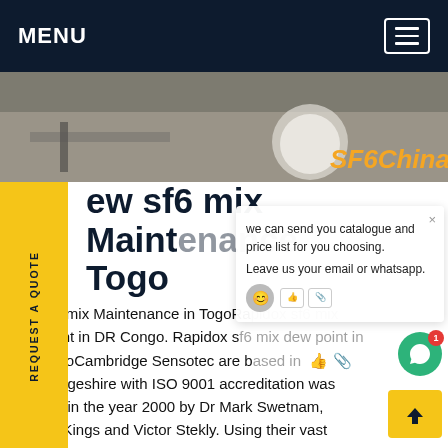MENU
[Figure (photo): Industrial/workshop scene with equipment and cylinders, branded SF6China in orange italic text bottom right]
ew sf6 mix Maintenance in Togo
v sf6 mix Maintenance in TogoRa... sf6 mix v point in DR Congo. Rapidox sf6 mix dew point in CongoCambridge Sensotec are based in... mbridgeshire with ISO 9001 accreditation was nded in the year 2000 by Dr Mark Swetnam, nald Kings and Victor Stekly. Using their vast experience and knowledge the team developed the Rapidox range of bench mounted oxygen analysers.Get price